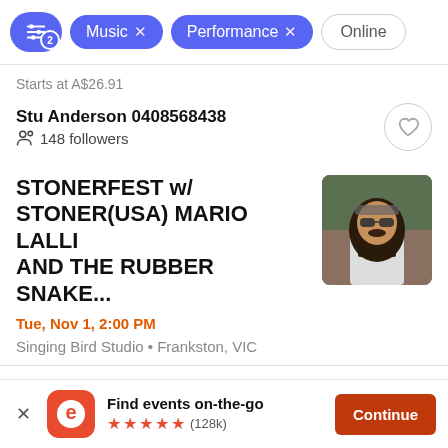[Figure (screenshot): Filter bar with slider icon button with badge '2', 'Music x' chip, 'Performance x' chip, 'Online' outline chip]
Starts at A$26.91
Stu Anderson 0408568438
148 followers
STONERFEST w/ STONER(USA) MARIO LALLI AND THE RUBBER SNAKE...
Tue, Nov 1, 2:00 PM
Singing Bird Studio • Frankston, VIC
[Figure (photo): Photo of a long-haired man wearing sunglasses and a black t-shirt]
Find events on-the-go ★★★★★ (128k)
Continue